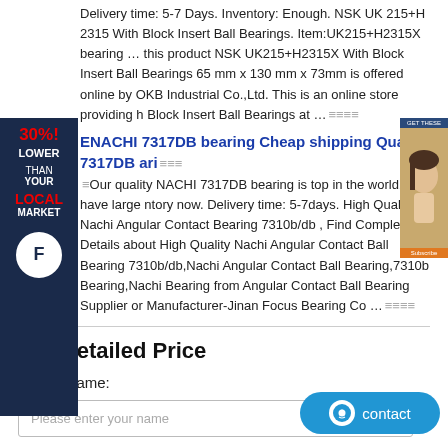Delivery time: 5-7 Days. Inventory: Enough. NSK UK 215+H 2315 With Block Insert Ball Bearings. Item:UK215+H2315X bearing … this product NSK UK215+H2315X With Block Insert Ball Bearings 65 mm x 130 mm x 73mm is offered online by OKB Industrial Co.,Ltd. This is an online store providing h Block Insert Ball Bearings at …
ENACHI 7317DB bearing Cheap shipping Quality 7317DB ari
Our quality NACHI 7317DB bearing is top in the world. We have large ntory now. Delivery time: 5-7days. High Quality Nachi Angular Contact Bearing 7310b/db , Find Complete Details about High Quality Nachi Angular Contact Ball Bearing 7310b/db,Nachi Angular Contact Ball Bearing,7310b Bearing,Nachi Bearing from Angular Contact Ball Bearing Supplier or Manufacturer-Jinan Focus Bearing Co …
Get Detailed Price
* Your Name:
Please enter your name